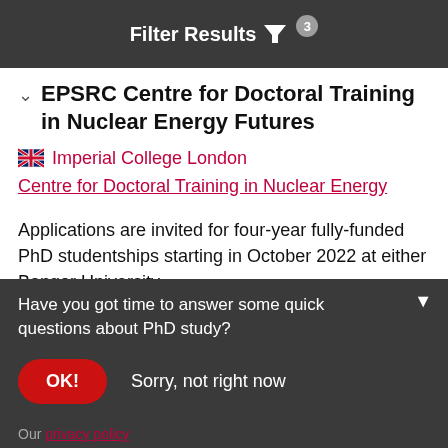Filter Results 3
EPSRC Centre for Doctoral Training in Nuclear Energy Futures
Imperial College London
Centre for Doctoral Training in Nuclear Energy
Applications are invited for four-year fully-funded PhD studentships starting in October 2022 at either Bangor University,
Have you got time to answer some quick questions about PhD study?
OK!  Sorry, not right now
Our privacy policy